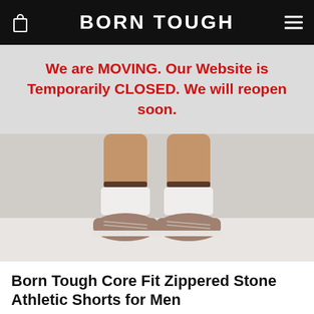BORN TOUGH
We are MOVING. Our Website is Temporarily CLOSED. We will reopen soon.
[Figure (photo): Lower legs and feet of a man wearing white socks and taupe/mauve athletic sneakers, standing against a light gray/white background.]
Born Tough Core Fit Zippered Stone Athletic Shorts for Men
0  Write a Review
$34.00  $26.00  SOLDOUT